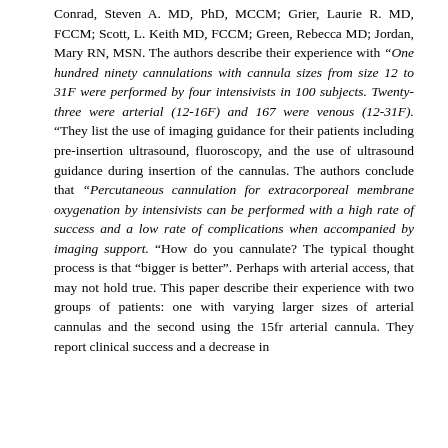Conrad, Steven A. MD, PhD, MCCM; Grier, Laurie R. MD, FCCM; Scott, L. Keith MD, FCCM; Green, Rebecca MD; Jordan, Mary RN, MSN. The authors describe their experience with "One hundred ninety cannulations with cannula sizes from size 12 to 31F were performed by four intensivists in 100 subjects. Twenty-three were arterial (12-16F) and 167 were venous (12-31F). "They list the use of imaging guidance for their patients including pre-insertion ultrasound, fluoroscopy, and the use of ultrasound guidance during insertion of the cannulas. The authors conclude that "Percutaneous cannulation for extracorporeal membrane oxygenation by intensivists can be performed with a high rate of success and a low rate of complications when accompanied by imaging support. "How do you cannulate? The typical thought process is that "bigger is better". Perhaps with arterial access, that may not hold true. This paper describe their experience with two groups of patients: one with varying larger sizes of arterial cannulas and the second using the 15fr arterial cannula. They report clinical success and a decrease in